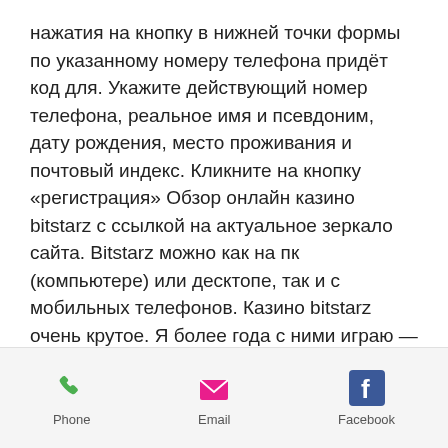нажатия на кнопку в нижней точки формы по указанному номеру телефона придёт код для. Укажите действующий номер телефона, реальное имя и псевдоним, дату рождения, место проживания и почтовый индекс. Кликните на кнопку «регистрация» Обзор онлайн казино bitstarz с ссылкой на актуальное зеркало сайта. Bitstarz можно как на пк (компьютере) или десктопе, так и с мобильных телефонов. Казино bitstarz очень крутое. Я более года с ними играю — ни разу не возникало проблем. Радует большое количество игр и шикарная графика, даже с телефона без. Номер телефона в дальнейшем нужно подтвердить. В конце регистрации система направит вас на форму для авторизации. На e-mail придет письмо со
Phone   Email   Facebook